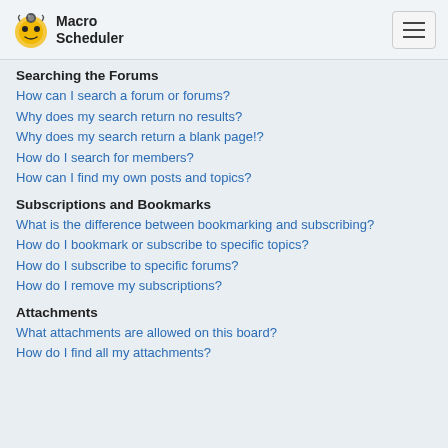Macro Scheduler
Searching the Forums
How can I search a forum or forums?
Why does my search return no results?
Why does my search return a blank page!?
How do I search for members?
How can I find my own posts and topics?
Subscriptions and Bookmarks
What is the difference between bookmarking and subscribing?
How do I bookmark or subscribe to specific topics?
How do I subscribe to specific forums?
How do I remove my subscriptions?
Attachments
What attachments are allowed on this board?
How do I find all my attachments?